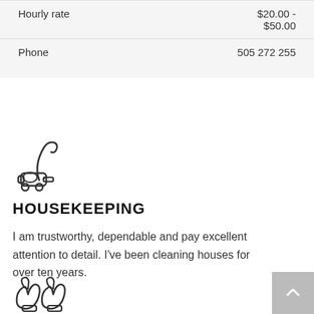| Hourly rate | $20.00 - $50.00 |
| Phone | 505 272 255 |
[Figure (illustration): Vacuum cleaner icon, outline style]
HOUSEKEEPING
I am trustworthy, dependable and pay excellent attention to detail. I've been cleaning houses for over ten years.
[Figure (illustration): Oven mitt / cooking glove icon, outline style]